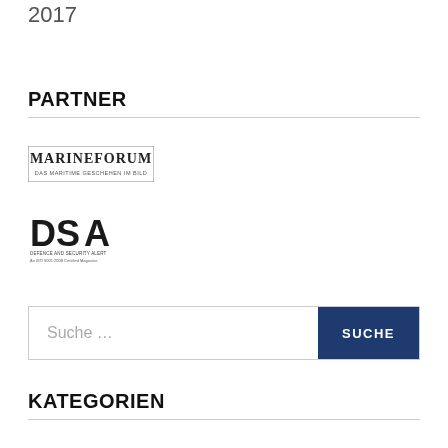2017
PARTNER
[Figure (logo): MarineForum logo - maritime magazine logo with text 'MARINEFORUM' and subtitle 'DAS MARITIME GESCHEHEN IM BILD']
[Figure (logo): DSA logo - Defence and Security Alert magazine logo with 'DSA' letters and subtitle text]
Suche …
KATEGORIEN